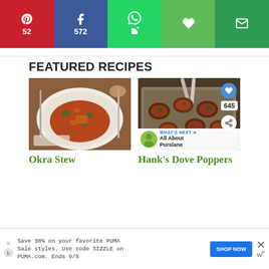[Figure (screenshot): Social share bar with Pinterest (52), Facebook (572), WhatsApp, heart/save, and email buttons]
FEATURED RECIPES
[Figure (photo): Photo of Okra Stew on a white oval plate with tomato sauce and vegetables]
Okra Stew
[Figure (photo): Photo of Hank's Dove Poppers, bacon-wrapped appetizers on a metal baking tray with tongs, showing heart save icon with count 645 and share icon]
Hank's Dove Poppers
[Figure (screenshot): WHAT'S NEXT arrow — All About Purslane banner with thumbnail]
Save 30% on your favorite PUMA Sale styles. Use code SIZZLE on PUMA.com. Ends 9/5
SHOP NOW